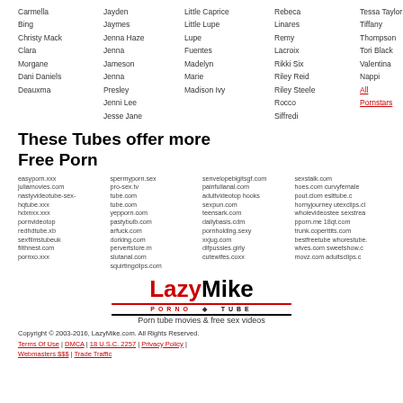Carmella, Bing, Christy Mack, Clara, Morgane, Dani Daniels, Deauxma | Jayden, Jaymes, Jenna Haze, Jenna, Jameson, Jenna, Presley, Jenni Lee, Jesse Jane | Little Caprice, Little Lupe, Lupe Fuentes, Madelyn, Marie, Madison Ivy | Rebeca, Linares, Remy Lacroix, Rikki Six, Riley Reid, Riley Steele, Rocco, Siffredi | Tessa Taylor, Tiffany Thompson, Tori Black, Valentina Nappi, All Pornstars
These Tubes offer more Free Porn
easyporn.xxx spermyporn.sex senvelopebigitsgf.com sexstalk.com juliamovies.com pro-sex.tv painfullanal.com hoes.com curvyfemale nastyvideotube-sex- adultvideotop hookspout.clom esittube.c hqtube.xxx tube.com sexpun.com hornyjourneyutexclips.cl hdxnxx.xxx yepporn.com teensark.com wholevideostee sexstrea pornvideotop pastybulb.com dailybasis.cdm pporn.me 18qt.com redhdtube.xbarfuck.com pornholding.sexy trunk.coperttits.com sexfilmstubeukdorking.com xxjug.com bestfreetube whorestube. filthnest.com pervertstore.rdifpussies.girlywives.com sweetshow.c pornxo.xxx slutanal.com cutewifes.coxxmovz.com adultsclips.c squirtingclips.com
[Figure (logo): LazyMike Porno Tube logo with tagline Porn tube movies & free sex videos]
Copyright © 2003-2016, LazyMike.com. All Rights Reserved. Terms Of Use | DMCA | 18 U.S.C. 2257 | Privacy Policy | Webmasters $$$ | Trade Traffic